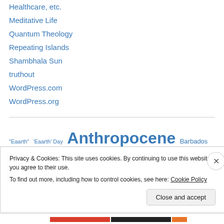Healthcare, etc.
Meditative Life
Quantum Theology
Repeating Islands
Shambhala Sun
truthout
WordPress.com
WordPress.org
[Figure (other): Tag cloud with entries: "Eaarth" (small), 'Eaarth' Day (small), Anthropocene (large), Barbados (medium), book review (medium), BP/Deepwater Horizon oil catastrophe (medium), Buddhist (extra large)]
Privacy & Cookies: This site uses cookies. By continuing to use this website, you agree to their use. To find out more, including how to control cookies, see here: Cookie Policy
Close and accept